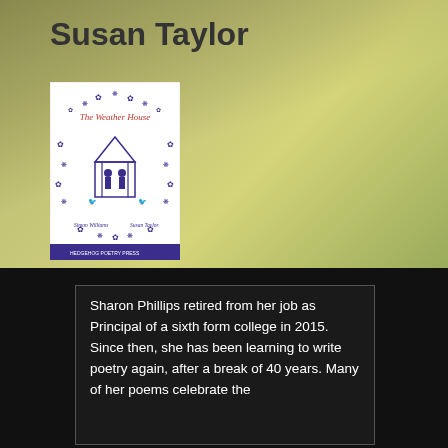Susan Taylor
[Figure (photo): Book cover of 'The Weather House' showing blue folk art illustrations of a house with figures and floral decorations on a white background, with authors Simon Williams and Susan Taylor listed at the bottom, published by Hedgehog Poetry Press]
Sharon Phillips retired from her job as Principal of a sixth form college in 2015. Since then, she has been learning to write poetry again, after a break of 40 years. Many of her poems celebrate the